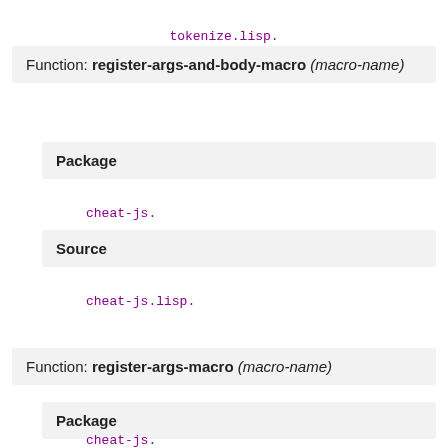tokenize.lisp.
Function: register-args-and-body-macro (macro-name)
Package
cheat-js.
Source
cheat-js.lisp.
Function: register-args-macro (macro-name)
Package
cheat-js.